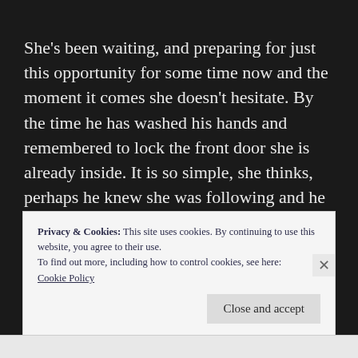She's been waiting, and preparing for just this opportunity for some time now and the moment it comes she doesn't hesitate. By the time he has washed his hands and remembered to lock the front door she is already inside. It is so simple, she thinks, perhaps he knew she was following and he left the way open for her. Gripping her shoulders, embracing herself in an attempt to control her excitement.
Privacy & Cookies: This site uses cookies. By continuing to use this website, you agree to their use.
To find out more, including how to control cookies, see here:
Cookie Policy
Close and accept